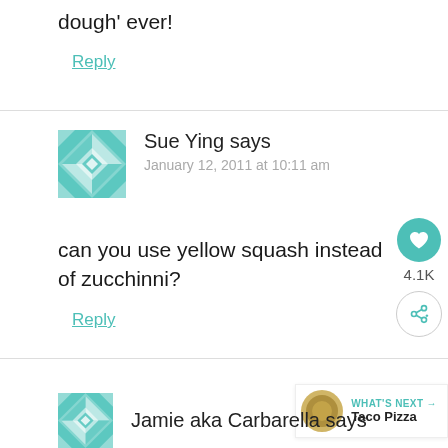dough' ever!
Reply
Sue Ying says
January 12, 2011 at 10:11 am
can you use yellow squash instead of zucchinni?
Reply
WHAT'S NEXT → Taco Pizza
Jamie aka Carbarella says